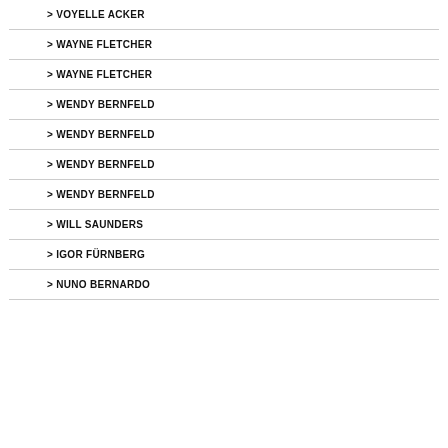> VOYELLE ACKER
> WAYNE FLETCHER
> WAYNE FLETCHER
> WENDY BERNFELD
> WENDY BERNFELD
> WENDY BERNFELD
> WENDY BERNFELD
> WILL SAUNDERS
> IGOR FÜRNBERG
> NUNO BERNARDO